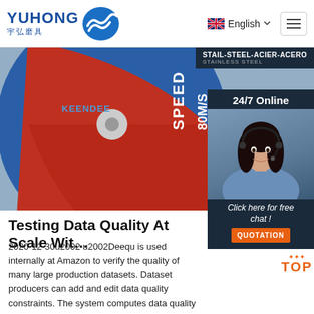YUHONG 宇弘磨具 — English navigation
[Figure (photo): Close-up of a red and grey KEENDEE abrasive cutting wheel disc with text 'SPEED 80M/S', 'WARNING', safety instructions, and a barcode (6210909...). Text includes 'STAIL-STEEL-ACIER-ACERO STAINLESS STEEL'.]
[Figure (photo): 24/7 Online customer service chat widget with a smiling woman wearing a headset, on a dark navy background. Bottom section says 'Click here for free chat!' with an orange QUOTATION button.]
Testing Data Quality At Scale Wit…
2020-12-30u2002·u2002Deequ is used internally at Amazon to verify the quality of many large production datasets. Dataset producers can add and edit data quality constraints. The system computes data quality metrics on a regular basis (with every new version of a dataset), verifies constraints defined by dataset producers, and publishes datasets to consumers in case …